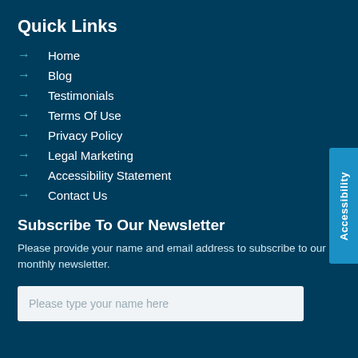Quick Links
Home
Blog
Testimonials
Terms Of Use
Privacy Policy
Legal Marketing
Accessibility Statement
Contact Us
Subscribe To Our Newsletter
Please provide your name and email address to subscribe to our monthly newsletter.
Please type your name here